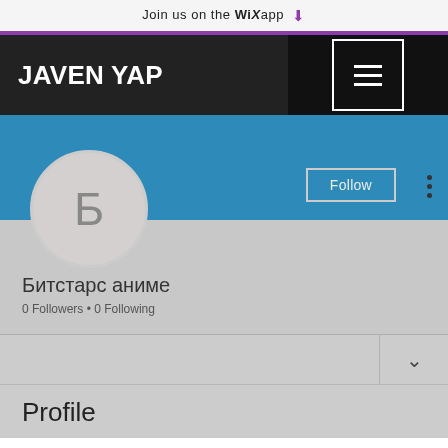Join us on the WiX app ⬇
JAVEN YAP
[Figure (screenshot): Hamburger menu icon in white square border on black background]
[Figure (screenshot): Blue profile banner with Follow button and three-dot menu, avatar circle with letter Б]
Битстарс аниме
0 Followers • 0 Following
Profile